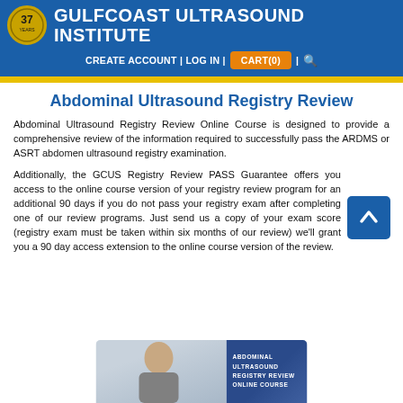GULFCOAST ULTRASOUND INSTITUTE
CREATE ACCOUNT | LOG IN | CART(0) | 🔍
Abdominal Ultrasound Registry Review
Abdominal Ultrasound Registry Review Online Course is designed to provide a comprehensive review of the information required to successfully pass the ARDMS or ASRT abdomen ultrasound registry examination.
Additionally, the GCUS Registry Review PASS Guarantee offers you access to the online course version of your registry review program for an additional 90 days if you do not pass your registry exam after completing one of our review programs. Just send us a copy of your exam score (registry exam must be taken within six months of our review) we'll grant you a 90 day access extension to the online course version of the review.
[Figure (screenshot): Abdominal Ultrasound Registry Review Online Course promotional card with a person and course title text on blue background.]